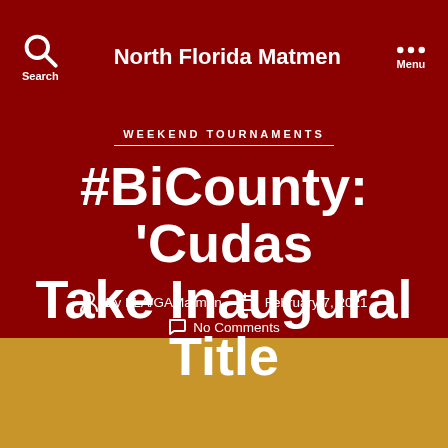North Florida Matmen
WEEKEND TOURNAMENTS
#BiCounty: ‘Cudas Take Inaugural Title
By FLA/GAMatmen  February 7, 2021
No Comments